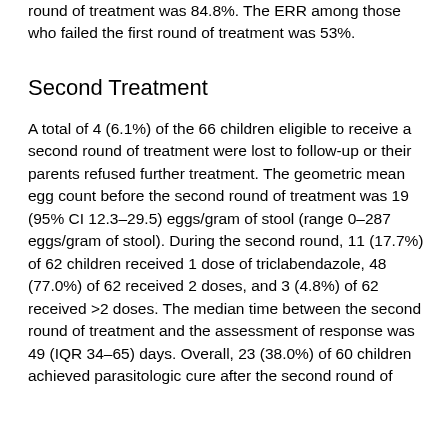round of treatment was 84.8%. The ERR among those who failed the first round of treatment was 53%.
Second Treatment
A total of 4 (6.1%) of the 66 children eligible to receive a second round of treatment were lost to follow-up or their parents refused further treatment. The geometric mean egg count before the second round of treatment was 19 (95% CI 12.3–29.5) eggs/gram of stool (range 0–287 eggs/gram of stool). During the second round, 11 (17.7%) of 62 children received 1 dose of triclabendazole, 48 (77.0%) of 62 received 2 doses, and 3 (4.8%) of 62 received >2 doses. The median time between the second round of treatment and the assessment of response was 49 (IQR 34–65) days. Overall, 23 (38.0%) of 60 children achieved parasitologic cure after the second round of